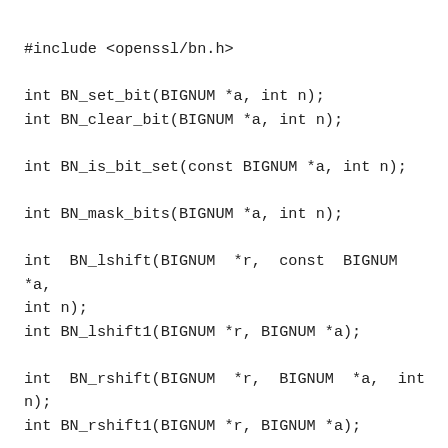#include <openssl/bn.h>

int BN_set_bit(BIGNUM *a, int n);
int BN_clear_bit(BIGNUM *a, int n);

int BN_is_bit_set(const BIGNUM *a, int n);

int BN_mask_bits(BIGNUM *a, int n);

int BN_lshift(BIGNUM *r, const BIGNUM *a,
int n);
int BN_lshift1(BIGNUM *r, BIGNUM *a);

int BN_rshift(BIGNUM *r, BIGNUM *a, int
n);
int BN_rshift1(BIGNUM *r, BIGNUM *a);